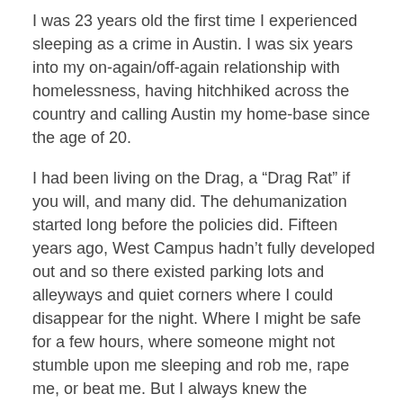I was 23 years old the first time I experienced sleeping as a crime in Austin. I was six years into my on-again/off-again relationship with homelessness, having hitchhiked across the country and calling Austin my home-base since the age of 20.
I had been living on the Drag, a “Drag Rat” if you will, and many did. The dehumanization started long before the policies did. Fifteen years ago, West Campus hadn’t fully developed out and so there existed parking lots and alleyways and quiet corners where I could disappear for the night. Where I might be safe for a few hours, where someone might not stumble upon me sleeping and rob me, rape me, or beat me. But I always knew the possibilities. And I often saw the outcomes in the mornings.
I nightly slept with a blunt object (whatever I could find, a broken 2×4, a branch, some busted concrete). And a couple of times, I had to use it.
A lot of people can’t understand the cycles of